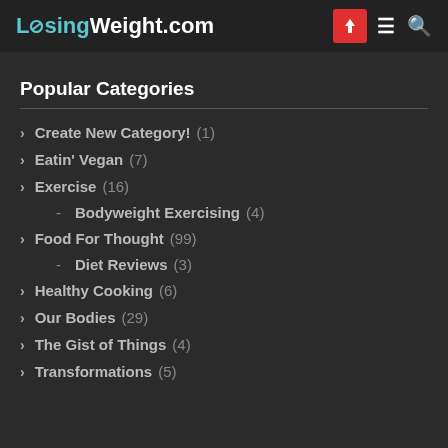LosingWeight.com
Popular Categories
Create New Category! (1)
Eatin' Vegan (7)
Exercise (16)
Bodyweight Exercising (4)
Food For Thought (99)
Diet Reviews (3)
Healthy Cooking (6)
Our Bodies (29)
The Gist of Things (4)
Transformations (5)